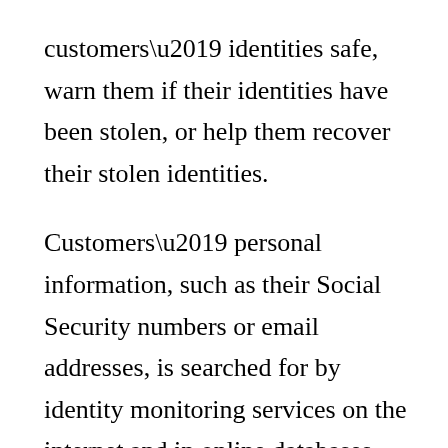customers' identities safe, warn them if their identities have been stolen, or help them recover their stolen identities.

Customers' personal information, such as their Social Security numbers or email addresses, is searched for by identity monitoring services on the internet and in online databases. Subscribers are alerted and given instructions on what to do in the event of a data breach involving this information. Most of the time, identity